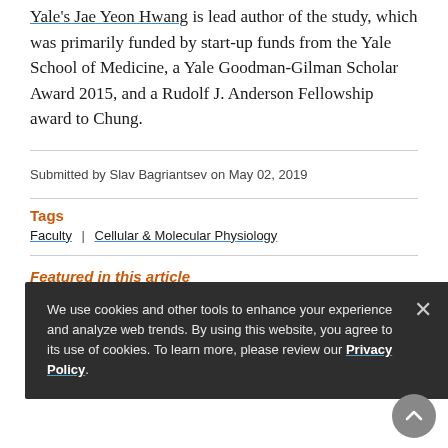Yale's Jae Yeon Hwang is lead author of the study, which was primarily funded by start-up funds from the Yale School of Medicine, a Yale Goodman-Gilman Scholar Award 2015, and a Rudolf J. Anderson Fellowship award to Chung.
Submitted by Slav Bagriantsev on May 02, 2019
Tags
Faculty | Cellular & Molecular Physiology
Featured in this article
We use cookies and other tools to enhance your experience and analyze web trends. By using this website, you agree to its use of cookies. To learn more, please review our Privacy Policy.
Jean-Ju Chung, PhD
Associate Professor of Cellular & Molecular